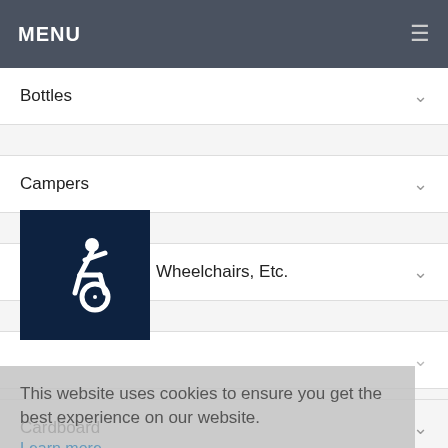MENU
Bottles
Campers
Canes, Crutches, Wheelchairs, Etc.
[Figure (illustration): Dark navy square with white wheelchair accessibility icon (dynamic wheelchair symbol)]
Cardboard
Carpeting
Cars
CD's
This website uses cookies to ensure you get the best experience on our website.
Learn more
Got it!